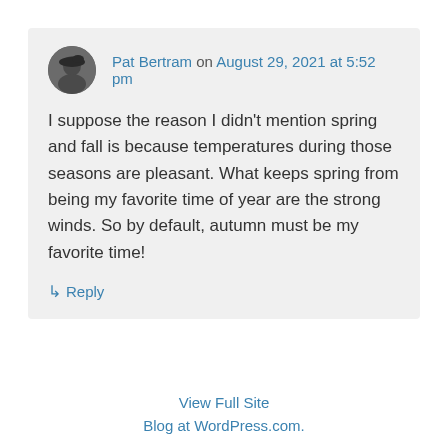Pat Bertram on August 29, 2021 at 5:52 pm
I suppose the reason I didn't mention spring and fall is because temperatures during those seasons are pleasant. What keeps spring from being my favorite time of year are the strong winds. So by default, autumn must be my favorite time!
↳ Reply
View Full Site
Blog at WordPress.com.